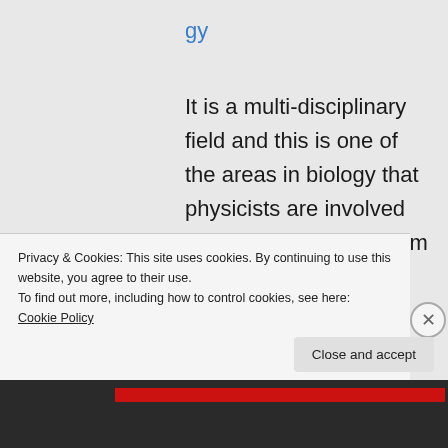gy
It is a multi-disciplinary field and this is one of the areas in biology that physicists are involved in. Those that come from complex systems modeling, such as
Privacy & Cookies: This site uses cookies. By continuing to use this website, you agree to their use.
To find out more, including how to control cookies, see here: Cookie Policy
Close and accept